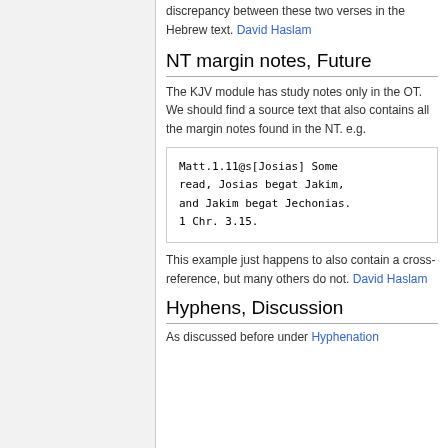discrepancy between these two verses in the Hebrew text. David Haslam
NT margin notes, Future
The KJV module has study notes only in the OT. We should find a source text that also contains all the margin notes found in the NT. e.g.
Matt.1.11@s[Josias] Some read, Josias begat Jakim, and Jakim begat Jechonias. 1 Chr. 3.15.
This example just happens to also contain a cross-reference, but many others do not. David Haslam
Hyphens, Discussion
As discussed before under Hyphenation